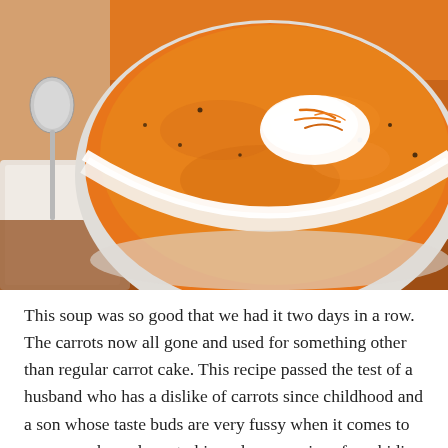[Figure (photo): A white bowl of creamy orange carrot soup topped with a swirl of sour cream and shredded carrots, with a silver spoon and white napkin visible to the left, on a wooden surface with an orange background.]
This soup was so good that we had it two days in a row. The carrots now all gone and used for something other than regular carrot cake. This recipe passed the test of a husband who has a dislike of carrots since childhood and a son whose taste buds are very fussy when it comes to soup – perhaps down to his early memories of my hiding all sorts of healthy veg in a soup, blended